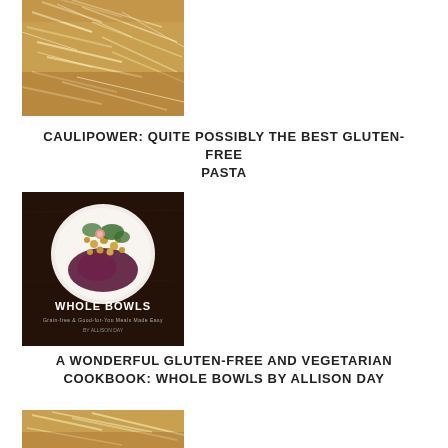[Figure (photo): Close-up photo of pasta dish topped with shredded cheese]
CAULIPOWER: QUITE POSSIBLY THE BEST GLUTEN-FREE PASTA
[Figure (photo): Book cover of 'Whole Bowls' showing a colorful grain bowl with chickpeas, red cabbage, and greens on a dark wooden background]
A WONDERFUL GLUTEN-FREE AND VEGETARIAN COOKBOOK: WHOLE BOWLS BY ALLISON DAY
[Figure (photo): Partial photo of another food dish at the bottom of the page, cut off]